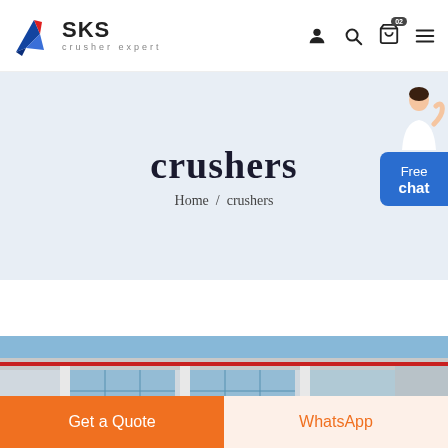SKS crusher expert
crushers
Home / crushers
[Figure (photo): Factory building exterior with large glass windows, industrial structure, blue sky, and a partial banner/poster visible at lower left.]
Get a Quote
WhatsApp